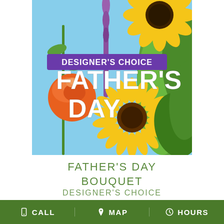[Figure (photo): A vibrant floral arrangement photo featuring yellow sunflowers, orange roses, yellow gerbera daisies, purple liatris flowers, and green foliage against a blue sky background. Overlaid text reads 'DESIGNER'S CHOICE' in a purple banner and 'FATHER'S DAY' in large white bold text.]
FATHER'S DAY BOUQUET
DESIGNER'S CHOICE
CALL   MAP   HOURS